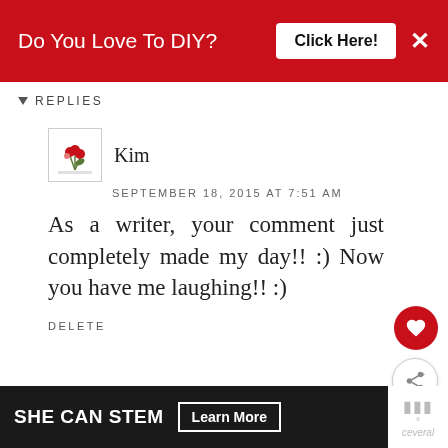[Figure (other): Red advertisement banner with text 'Do You Love To DIY?' and a white 'Click Here!' button and X close button]
REPLIES
[Figure (logo): Small floral/plant logo for commenter Kim]
Kim
SEPTEMBER 18, 2015 AT 7:51 AM
As a writer, your comment just completely made my day!! :) Now you have me laughing!! :)
DELETE
REPLY
[Figure (other): WHAT'S NEXT arrow with avatar and text 'Do You Dish?']
Butterfly 8)(8 Bungalow
[Figure (other): Bottom advertisement banner: SHE CAN STEM Learn More button on dark background]